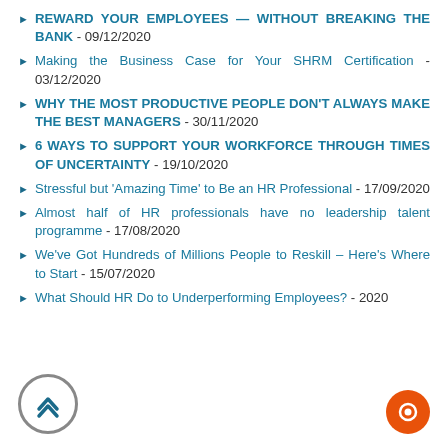REWARD YOUR EMPLOYEES — WITHOUT BREAKING THE BANK - 09/12/2020
Making the Business Case for Your SHRM Certification - 03/12/2020
WHY THE MOST PRODUCTIVE PEOPLE DON'T ALWAYS MAKE THE BEST MANAGERS - 30/11/2020
6 WAYS TO SUPPORT YOUR WORKFORCE THROUGH TIMES OF UNCERTAINTY - 19/10/2020
Stressful but 'Amazing Time' to Be an HR Professional - 17/09/2020
Almost half of HR professionals have no leadership talent programme - 17/08/2020
We've Got Hundreds of Millions People to Reskill – Here's Where to Start - 15/07/2020
What Should HR Do to Underperforming Employees? - /2020